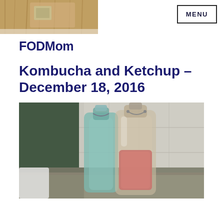[Figure (photo): Partial top photo of a wooden cutting board on a light surface, cropped at top]
[Figure (other): MENU button with border]
FODMom
Kombucha and Ketchup – December 18, 2016
[Figure (photo): Close-up photo of glass bottles with flip-top lids containing pink/red kombucha liquid, kitchen background with tiles and countertop]